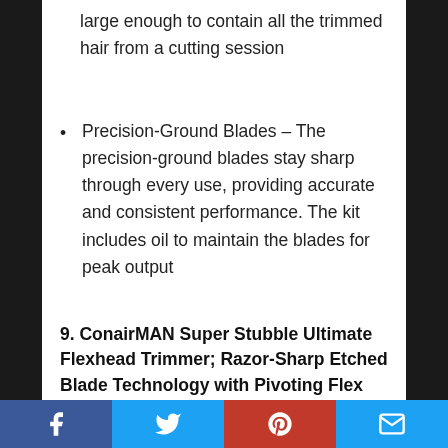large enough to contain all the trimmed hair from a cutting session
Precision-Ground Blades – The precision-ground blades stay sharp through every use, providing accurate and consistent performance. The kit includes oil to maintain the blades for peak output
9. ConairMAN Super Stubble Ultimate Flexhead Trimmer; Razor-Sharp Etched Blade Technology with Pivoting Flex Head; 15 Digital Settings ranging from 0.4mm to